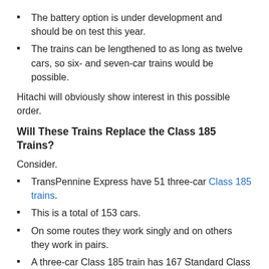The battery option is under development and should be on test this year.
The trains can be lengthened to as long as twelve cars, so six- and seven-car trains would be possible.
Hitachi will obviously show interest in this possible order.
Will These Trains Replace the Class 185 Trains?
Consider.
TransPennine Express have 51 three-car Class 185 trains.
This is a total of 153 cars.
On some routes they work singly and on others they work in pairs.
A three-car Class 185 train has 167 Standard Class and 15 First Class seats or 60.7 seats per car.